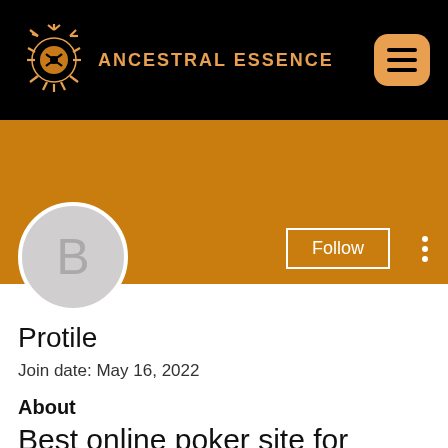ANCESTRAL ESSENCE
[Figure (illustration): Orange ornate sun/flower logo with radiating petals on black background]
[Figure (illustration): Gray circle avatar with letter B]
Protile
Join date: May 16, 2022
About
Best online poker site for omaha